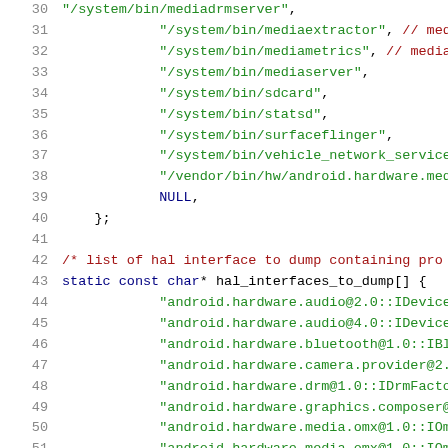[Figure (screenshot): Source code listing showing C/C++ array of system binary paths and HAL interface names, lines 30-51]